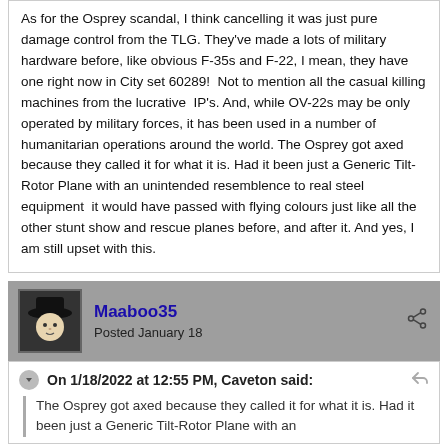As for the Osprey scandal, I think cancelling it was just pure damage control from the TLG. They've made a lots of military hardware before, like obvious F-35s and F-22, I mean, they have one right now in City set 60289!  Not to mention all the casual killing machines from the lucrative  IP's. And, while OV-22s may be only operated by military forces, it has been used in a number of humanitarian operations around the world. The Osprey got axed because they called it for what it is. Had it been just a Generic Tilt-Rotor Plane with an unintended resemblence to real steel equipment  it would have passed with flying colours just like all the other stunt show and rescue planes before, and after it. And yes, I am still upset with this.
Maaboo35 Posted January 18
On 1/18/2022 at 12:55 PM, Caveton said:
The Osprey got axed because they called it for what it is. Had it been just a Generic Tilt-Rotor Plane with an